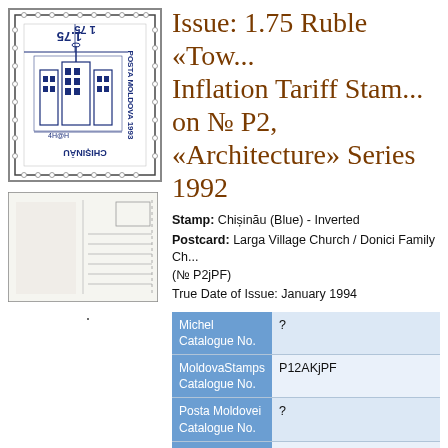[Figure (photo): Postage stamp from Moldova 1993, showing inverted blue Chisinau design, value 1.75, with text POSTA MOLDOVA 1993 and CHISINAU]
[Figure (photo): Postcard showing Larga Village Church / Donici Family Church, postal card with lines]
Issue: 1.75 Ruble «Tow... Inflation Tariff Stam... on № P2, «Architecture» Series 1992
Stamp: Chișinău (Blue) - Inverted
Postcard: Larga Village Church / Donici Family Ch... (№ P2jPF)
True Date of Issue: January 1994
| Category | Value |
| --- | --- |
| Michel Catalogue No. | ? |
| MoldovaStamps Catalogue No. | P12AKjPF |
| Posta Moldovei Catalogue No. | ? |
| Posta Moldovei Order No. | ? |
| Posta Moldovei | ? |